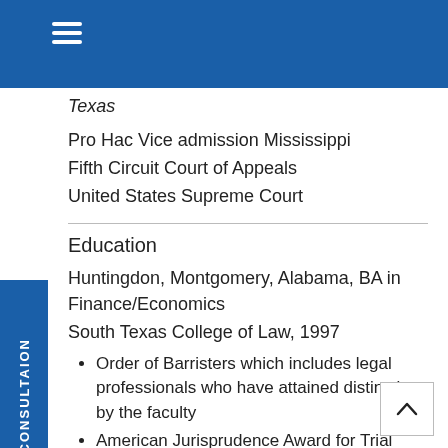FREE CONSULTAION
Texas
Pro Hac Vice admission Mississippi
Fifth Circuit Court of Appeals
United States Supreme Court
Education
Huntingdon, Montgomery, Alabama, BA in Finance/Economics
South Texas College of Law, 1997
Order of Barristers which includes legal professionals who have attained distinction by the faculty
American Jurisprudence Award for Trial Advocacy
National Mock Trial and Moot Court